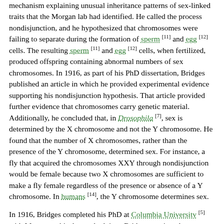mechanism explaining unusual inheritance patterns of sex-linked traits that the Morgan lab had identified. He called the process nondisjunction, and he hypothesized that chromosomes were failing to separate during the formation of sperm [11] and egg [12] cells. The resulting sperm [11] and egg [12] cells, when fertilized, produced offspring containing abnormal numbers of sex chromosomes. In 1916, as part of his PhD dissertation, Bridges published an article in which he provided experimental evidence supporting his nondisjunction hypothesis. That article provided further evidence that chromosomes carry genetic material. Additionally, he concluded that, in Drosophila [7], sex is determined by the X chromosome and not the Y chromosome. He found that the number of X chromosomes, rather than the presence of the Y chromosome, determined sex. For instance, a fly that acquired the chromosomes XXY through nondisjunction would be female because two X chromosomes are sufficient to make a fly female regardless of the presence or absence of a Y chromosome. In humans [14], the Y chromosome determines sex.
In 1916, Bridges completed his PhD at Columbia University [5] with Morgan as his doctoral advisor. Bridges continued to research in Morgan's laboratory at Columbia University [5] through funds the laboratory had received from the Carnegie Institution of Washington [16], in Washington, D.C. By 1919, Bridges had become an extramural employee of the Carnegie Institution, which